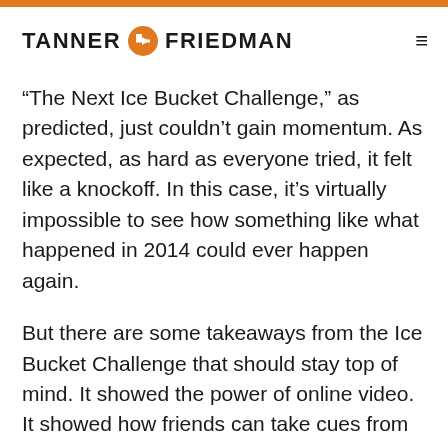TANNER FRIEDMAN
“The Next Ice Bucket Challenge,” as predicted, just couldn’t gain momentum. As expected, as hard as everyone tried, it felt like a knockoff. In this case, it’s virtually impossible to see how something like what happened in 2014 could ever happen again.
But there are some takeaways from the Ice Bucket Challenge that should stay top of mind. It showed the power of online video. It showed how friends can take cues from